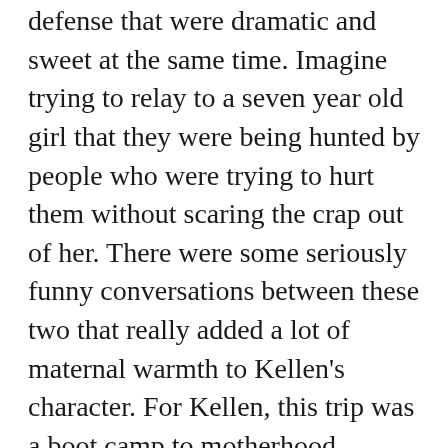such has some in raids to lessons in self-defense that were dramatic and sweet at the same time. Imagine trying to relay to a seven year old girl that they were being hunted by people who were trying to hurt them without scaring the crap out of her. There were some seriously funny conversations between these two that really added a lot of maternal warmth to Kellen's character. For Kellen, this trip was a boot camp to motherhood.
I really liked Max in Dead Girl Running and he was even more likable as a dad and love interest to Kellen in this novel. He was alpha male enough to want to sweep in and keep his girls safe, but smart enough to let Kellen use